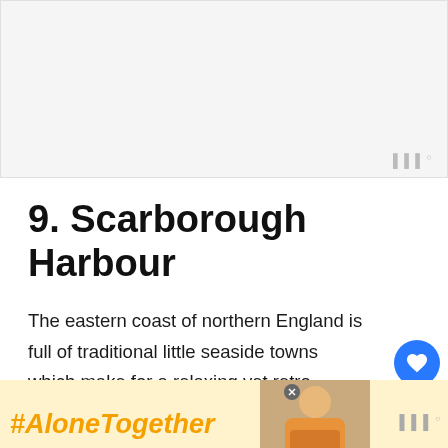[Figure (other): Advertisement banner placeholder at top of page, light grey background with Mediavine logo at bottom right]
9. Scarborough Harbour
The eastern coast of northern England is full of traditional little seaside towns which make for a relaxing yet retro getaway. Traditionally, English families would come to places like Scarborough be...norm
[Figure (other): Bottom advertisement banner with #AloneTogether hashtag in orange italic text on yellow background, photo of woman, close button, and Mediavine logo]